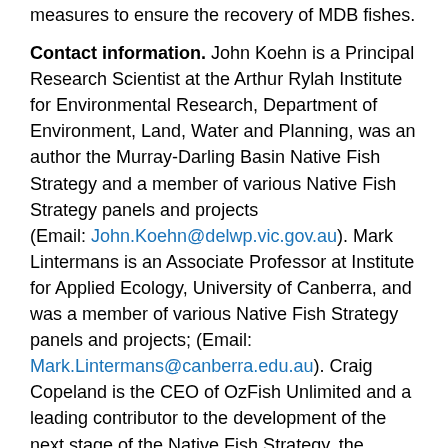measures to ensure the recovery of MDB fishes.
Contact information. John Koehn is a Principal Research Scientist at the Arthur Rylah Institute for Environmental Research, Department of Environment, Land, Water and Planning, was an author the Murray-Darling Basin Native Fish Strategy and a member of various Native Fish Strategy panels and projects (Email: John.Koehn@delwp.vic.gov.au). Mark Lintermans is an Associate Professor at Institute for Applied Ecology, University of Canberra, and was a member of various Native Fish Strategy panels and projects; (Email: Mark.Lintermans@canberra.edu.au). Craig Copeland is the CEO of OzFish Unlimited and a leading contributor to the development of the next stage of the Native Fish Strategy, the Northern Basin Complementary Measures Program and the 2017 MDB Native Fish Forum (Email: